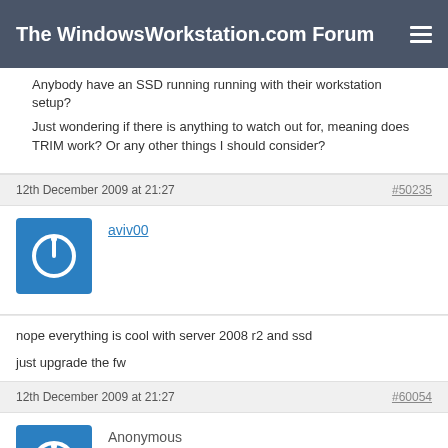The WindowsWorkstation.com Forum
Anybody have an SSD running running with their workstation setup?
Just wondering if there is anything to watch out for, meaning does TRIM work? Or any other things I should consider?
12th December 2009 at 21:27
#50235
aviv00
nope everything is cool with server 2008 r2 and ssd

just upgrade the fw
12th December 2009 at 21:27
#60054
Anonymous